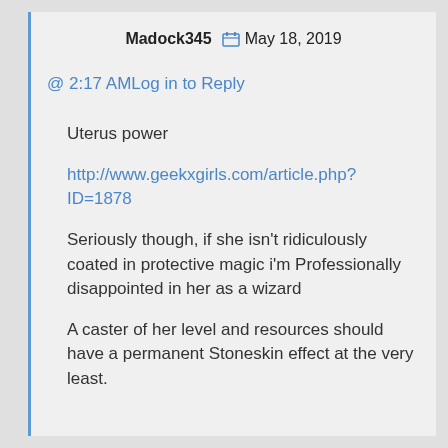Madock345  📅 May 18, 2019
@ 2:17 AMLog in to Reply
Uterus power
http://www.geekxgirls.com/article.php?ID=1878
Seriously though, if she isn't ridiculously coated in protective magic i'm Professionally disappointed in her as a wizard
A caster of her level and resources should have a permanent Stoneskin effect at the very least.